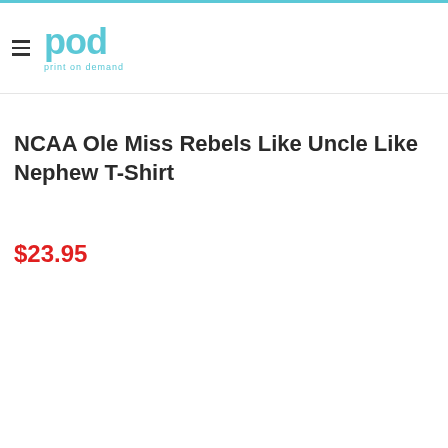pod print on demand
NCAA Ole Miss Rebels Like Uncle Like Nephew T-Shirt
$23.95